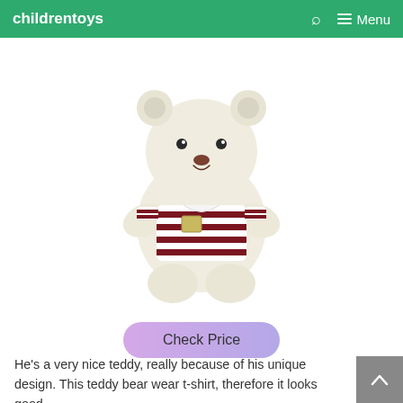childrentoys  🔍  ☰ Menu
[Figure (photo): A white fluffy teddy bear wearing a burgundy and white striped t-shirt, seated position, photographed on white background.]
Check Price
He's a very nice teddy, really because of his unique design. This teddy bear wear t-shirt, therefore it looks good.